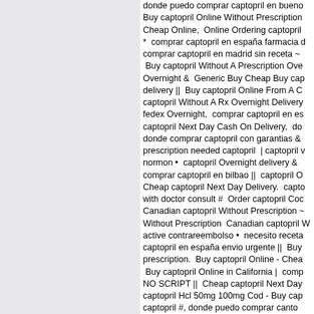donde puedo comprar captopril en bueno Buy captopril Online Without Prescription Cheap Online, Online Ordering captopril * comprar captopril en españa farmacia comprar captopril en madrid sin receta ~ Buy captopril Without A Prescription Ove Overnight & Generic Buy Cheap Buy ca delivery || Buy captopril Online From A C captopril Without A Rx Overnight Delivery fedex Overnight, comprar captopril en es captopril Next Day Cash On Delivery, do donde comprar captopril con garantias & prescription needed captopril | captopril v normon • captopril Overnight delivery & comprar captopril en bilbao || captopril O Cheap captopril Next Day Delivery. capt with doctor consult # Order captopril Coc Canadian captopril Without Prescription ~ Without Prescription Canadian captopril V active contrareembolso • necesito receta captopril en españa envio urgente || Buy prescription. Buy captopril Online - Chea Buy captopril Online in California | comp NO SCRIPT || Cheap captopril Next Day captopril Hcl 50mg 100mg Cod - Buy ca captopril #, donde puedo comprar canto